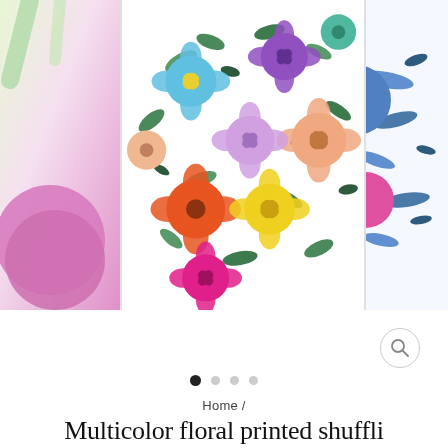[Figure (photo): E-commerce product image carousel showing a floral printed shuffli patch top. Center image shows colorful multicolor floral print fabric top with orange, pink, yellow, blue, purple flowers on white background. Left partial image shows pink/purple item. Right partial image shows blue floral item.]
Home /
Multicolor floral printed shuffli patch top
SHT0821442
630.00 Rs